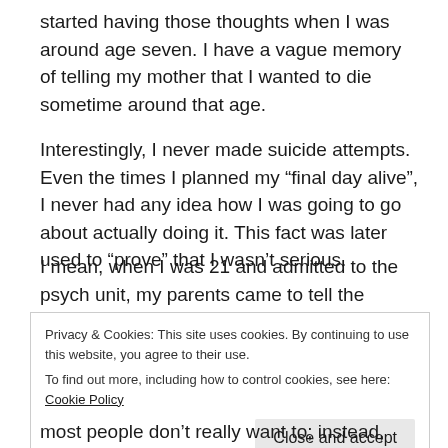started having those thoughts when I was around age seven. I have a vague memory of telling my mother that I wanted to die sometime around that age.
Interestingly, I never made suicide attempts. Even the times I planned my “final day alive”, I never had any idea how I was going to go about actually doing it. This fact was later used to “prove” that I wasn’t serious.
I mean, when I was 21 and admitted to the psych unit, my parents came to tell the psychiatrist that I’d threatened suicide ever since I was seven-years-old, almost adding triumphantly: “See, and here she is, alive!” They said I just
Privacy & Cookies: This site uses cookies. By continuing to use this website, you agree to their use.
To find out more, including how to control cookies, see here: Cookie Policy
most people don’t really want to; instead, they want a